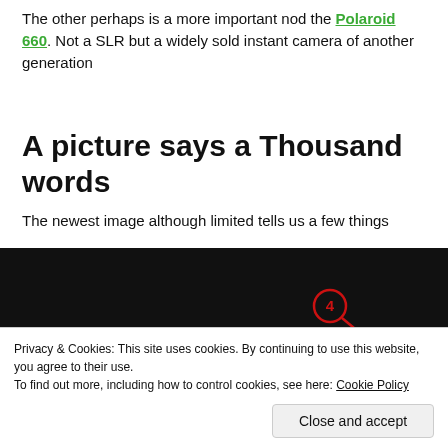The other perhaps is a more important nod the Polaroid 660. Not a SLR but a widely sold instant camera of another generation
A picture says a Thousand words
The newest image although limited tells us a few things
[Figure (photo): Dark photo of a camera with annotated red circled numbers and arrows pointing to features, partially obscured by a cookie consent banner]
Privacy & Cookies: This site uses cookies. By continuing to use this website, you agree to their use. To find out more, including how to control cookies, see here: Cookie Policy
Close and accept